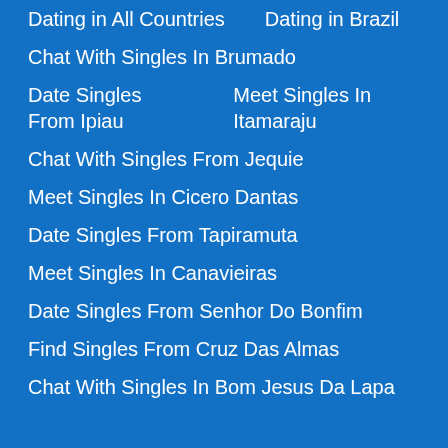Dating in All Countries    Dating in Brazil
Chat With Singles In Brumado
Date Singles From Ipiau    Meet Singles In Itamaraju
Chat With Singles From Jequie
Meet Singles In Cicero Dantas
Date Singles From Tapiramuta
Meet Singles In Canavieiras
Date Singles From Senhor Do Bonfim
Find Singles From Cruz Das Almas
Chat With Singles In Bom Jesus Da Lapa